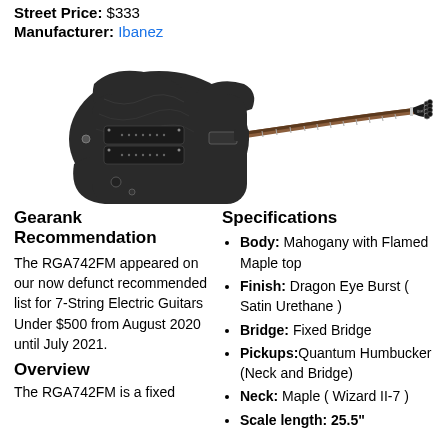Street Price: $333
Manufacturer: Ibanez
[Figure (photo): Photo of a black Ibanez RGA742FM 7-string electric guitar with flamed maple top and a rosewood fretboard, shown on a white background.]
Gearank Recommendation
The RGA742FM appeared on our now defunct recommended list for 7-String Electric Guitars Under $500 from August 2020 until July 2021.
Overview
The RGA742FM is a fixed
Specifications
Body: Mahogany with Flamed Maple top
Finish: Dragon Eye Burst ( Satin Urethane )
Bridge: Fixed Bridge
Pickups: Quantum Humbucker (Neck and Bridge)
Neck: Maple ( Wizard II-7 )
Scale length: 25.5"